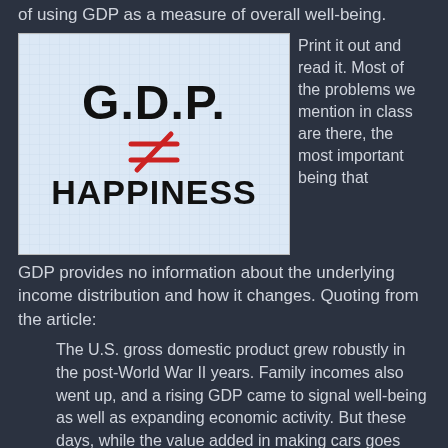of using GDP as a measure of overall well-being.
[Figure (illustration): Image showing 'G.D.P.' in large bold text, a red not-equal sign (≠) in the middle, and 'HAPPINESS' in large bold text below, on a light blue grid background.]
Print it out and read it. Most of the problems we mention in class are there, the most important being that GDP provides no information about the underlying income distribution and how it changes. Quoting from the article:
The U.S. gross domestic product grew robustly in the post-World War II years. Family incomes also went up, and a rising GDP came to signal well-being as well as expanding economic activity. But these days, while the value added in making cars goes into the total, same as always, the gain can be distributed in stock dividends or profits or multimillion-dollar chief executive pay more than